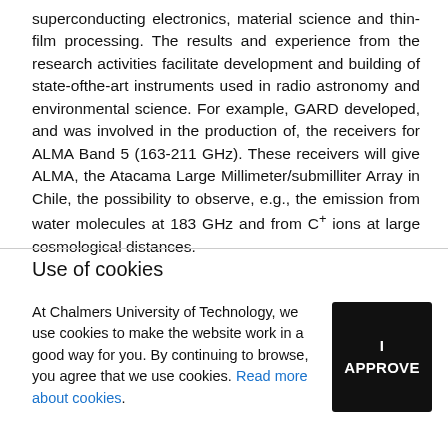superconducting electronics, material science and thin-film processing. The results and experience from the research activities facilitate development and building of state-ofthe-art instruments used in radio astronomy and environmental science. For example, GARD developed, and was involved in the production of, the receivers for ALMA Band 5 (163-211 GHz). These receivers will give ALMA, the Atacama Large Millimeter/submilliter Array in Chile, the possibility to observe, e.g., the emission from water molecules at 183 GHz and from C+ ions at large cosmological distances.
Use of cookies
At Chalmers University of Technology, we use cookies to make the website work in a good way for you. By continuing to browse, you agree that we use cookies. Read more about cookies.